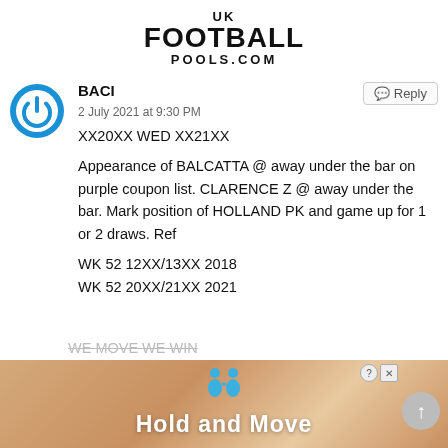UK FOOTBALL POOLS.COM
BACI
2 July 2021 at 9:30 PM

XX20XX WED XX21XX

Appearance of BALCATTA @ away under the bar on purple coupon list. CLARENCE Z @ away under the bar. Mark position of HOLLAND PK and game up for 1 or 2 draws. Ref

WK 52 12XX/13XX 2018
WK 52 20XX/21XX 2021

WE MOVE WE WIN
[Figure (screenshot): Advertisement banner: Hold and Move app with two blue figures icon]